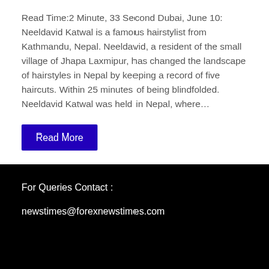Read Time:2 Minute, 33 Second Dubai, June 10: Neeldavid Katwal is a famous hairstylist from Kathmandu, Nepal. Neeldavid, a resident of the small village of Jhapa Laxmipur, has changed the landscape of hairstyles in Nepal by keeping a record of five haircuts. Within 25 minutes of being blindfolded. Neeldavid Katwal was held in Nepal, where…
Read More
For Queries Contact :
newstimes@forexnewstimes.com